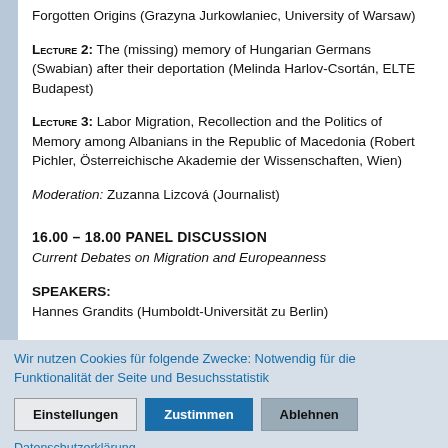Forgotten Origins (Grazyna Jurkowlaniec, University of Warsaw)
Lecture 2: The (missing) memory of Hungarian Germans (Swabian) after their deportation (Melinda Harlov-Csortán, ELTE Budapest)
Lecture 3: Labor Migration, Recollection and the Politics of Memory among Albanians in the Republic of Macedonia (Robert Pichler, Österreichische Akademie der Wissenschaften, Wien)
Moderation: Zuzanna Lizcová (Journalist)
16.00 – 18.00 PANEL DISCUSSION
Current Debates on Migration and Europeanness
SPEAKERS:
Hannes Grandits (Humboldt-Universität zu Berlin)
Wir nutzen Cookies für folgende Zwecke: Notwendig für die Funktionalität der Seite und Besuchsstatistik
Datenschutzerklärung